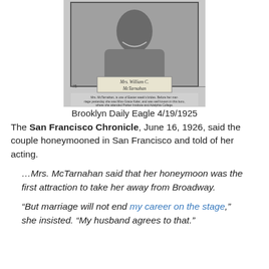[Figure (photo): Black and white portrait photograph of Mrs. William C. McTarnahan, with a decorative frame and label plate reading 'Mrs. William C. McTarnahan'. Below the portrait is a small caption text about Mrs. McTarnahan being one of Easter week's brides, before her marriage she was Miss Grace Kaler, and was well known in this boro where she attended Parker Institute and Adelphia College.]
Brooklyn Daily Eagle 4/19/1925
The San Francisco Chronicle, June 16, 1926, said the couple honeymooned in San Francisco and told of her acting.
…Mrs. McTarnahan said that her honeymoon was the first attraction to take her away from Broadway.
“But marriage will not end my career on the stage,” she insisted. “My husband agrees to that.”